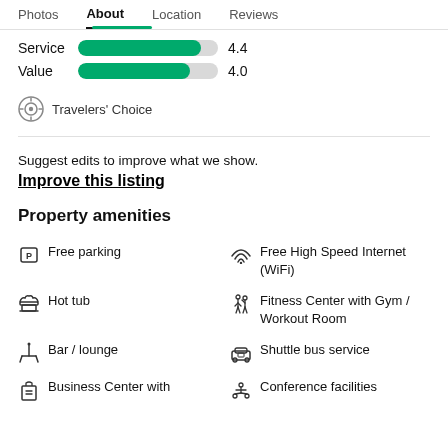Photos  About  Location  Reviews
Service 4.4
Value 4.0
Travelers' Choice
Suggest edits to improve what we show.
Improve this listing
Property amenities
Free parking
Free High Speed Internet (WiFi)
Hot tub
Fitness Center with Gym / Workout Room
Bar / lounge
Shuttle bus service
Business Center with
Conference facilities